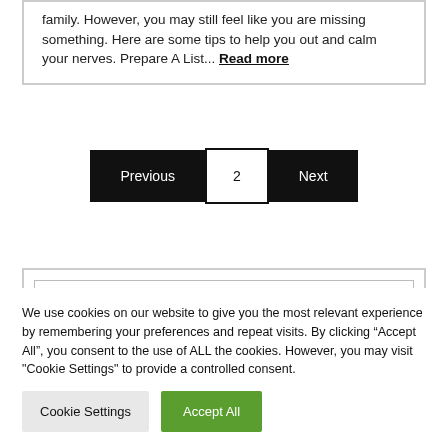family. However, you may still feel like you are missing something. Here are some tips to help you out and calm your nerves. Prepare A List... Read more
Previous 2 Next
Search
We use cookies on our website to give you the most relevant experience by remembering your preferences and repeat visits. By clicking “Accept All”, you consent to the use of ALL the cookies. However, you may visit "Cookie Settings" to provide a controlled consent.
Cookie Settings
Accept All